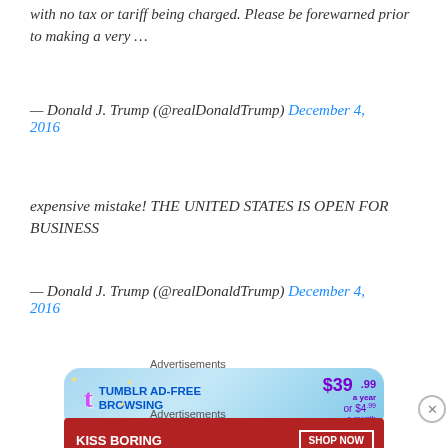with no tax or tariff being charged. Please be forewarned prior to making a very ...
— Donald J. Trump (@realDonaldTrump) December 4, 2016
expensive mistake! THE UNITED STATES IS OPEN FOR BUSINESS
— Donald J. Trump (@realDonaldTrump) December 4, 2016
Advertisements
[Figure (other): Tumblr Ad-Free Browsing advertisement banner: $39.99 a year or $4.99 a month]
Advertisements
[Figure (other): Macy's advertisement: Kiss Boring Lips Goodbye - Shop Now]